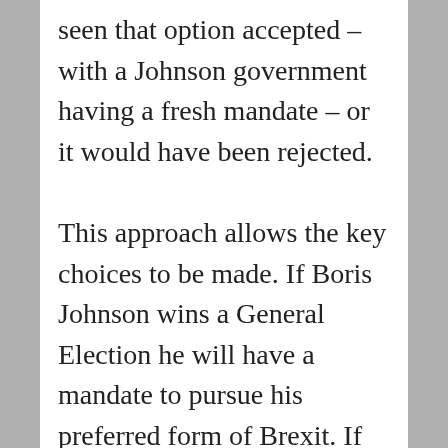seen that option accepted – with a Johnson government having a fresh mandate – or it would have been rejected.

This approach allows the key choices to be made. If Boris Johnson wins a General Election he will have a mandate to pursue his preferred form of Brexit. If he loses and either one of the opposition parties has a majority or some type of coalition is formed, the new government would